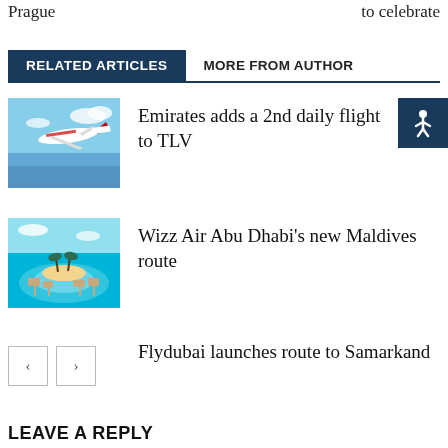Prague … to celebrate
RELATED ARTICLES	MORE FROM AUTHOR
Emirates adds a 2nd daily flight to TLV
Wizz Air Abu Dhabi's new Maldives route
Flydubai launches route to Samarkand
LEAVE A REPLY